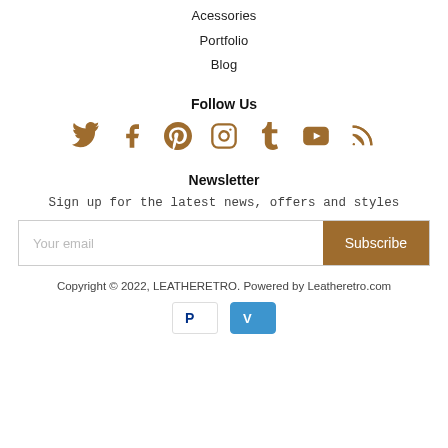Acessories
Portfolio
Blog
Follow Us
[Figure (infographic): Social media icons: Twitter, Facebook, Pinterest, Instagram, Tumblr, YouTube, RSS — all in brown/tan color]
Newsletter
Sign up for the latest news, offers and styles
Your email | Subscribe
Copyright © 2022, LEATHERETRO. Powered by Leatheretro.com
[Figure (logo): PayPal and Venmo payment icons]